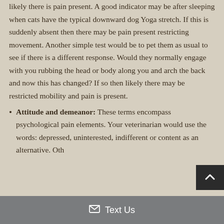likely there is pain present. A good indicator may be after sleeping when cats have the typical downward dog Yoga stretch. If this is suddenly absent then there may be pain present restricting movement. Another simple test would be to pet them as usual to see if there is a different response. Would they normally engage with you rubbing the head or body along you and arch the back and now this has changed? If so then likely there may be restricted mobility and pain is present.
Attitude and demeanor: These terms encompass psychological pain elements. Your veterinarian would use the words: depressed, uninterested, indifferent or content as an alternative. Oth...
✉ Text Us